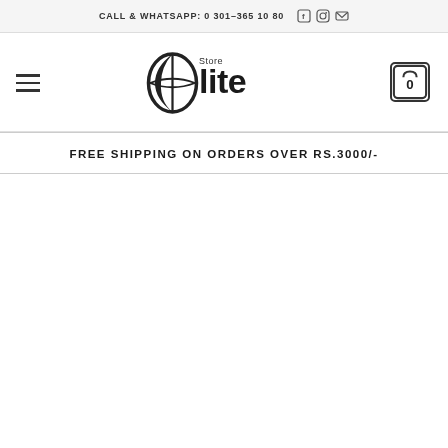CALL & WHATSAPP: 0301-365 10 80
[Figure (logo): Elite Store logo with stylized 'Elite' text and globe/leaf icon]
FREE SHIPPING ON ORDERS OVER RS.3000/-